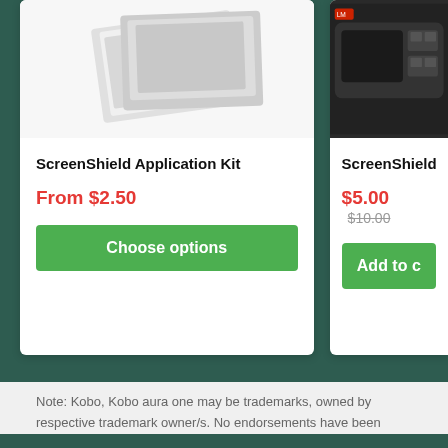[Figure (screenshot): Partial product image of ScreenShield Application Kit — sticker sheets on white background]
ScreenShield Application Kit
From $2.50
Choose options
[Figure (screenshot): Partial product image of ScreenShield Device Cleaner — dark device on gray background]
ScreenShield Device C…
$5.00  $10.00
Add to c…
Note: Kobo, Kobo aura one may be trademarks, owned by respective trademark owner/s. No endorsements have been made from the trademark owner/s or device manufacturers, and are used for referential and compatibility purposes only. Learn more.